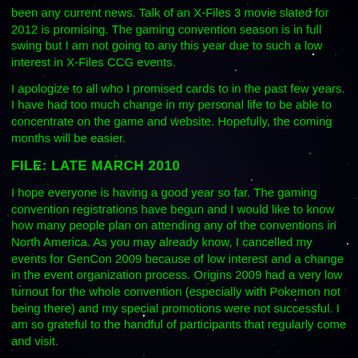been any current news. Talk of an X-Files 3 movie slated for 2012 is promising. The gaming convention season is in full swing but I am not going to any this year due to such a low interest in X-Files CCG events.
I apologize to all who I promised cards to in the past few years. I have had too much change in my personal life to be able to concentrate on the game and website. Hopefully, the coming months will be easier.
FILE: LATE MARCH 2010
I hope everyone is having a good year so far. The gaming convention registrations have begun and I would like to know how many people plan on attending any of the conventions in North America. As you may already know, I cancelled my events for GenCon 2009 because of low interest and a change in the event organization process. Origins 2009 had a very low turnout for the whole convention (especially with Pokemon not being there) and my special promotions were not successful. I am so grateful to the handful of participants that regularly come and visit.
I would love to make the events popular but the game has been out of print for over 10 years now. I ask all of you: